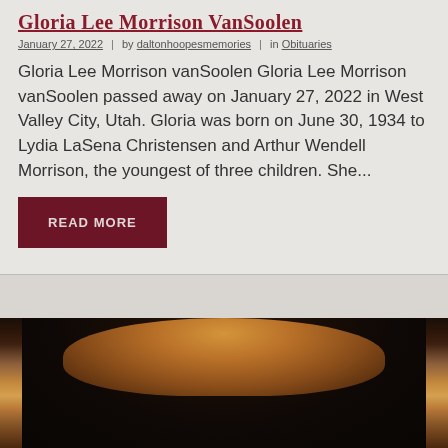Gloria Lee Morrison vanSoolen
January 27, 2022  |  by daltonhoopesmemories  |  in Obituaries
Gloria Lee Morrison vanSoolen Gloria Lee Morrison vanSoolen passed away on January 27, 2022 in West Valley City, Utah. Gloria was born on June 30, 1934 to Lydia LaSena Christensen and Arthur Wendell Morrison, the youngest of three children. She...
READ MORE
[Figure (photo): A close-up photograph of a person with reddish-brown hair, dark background, showing only the top portion of the head]